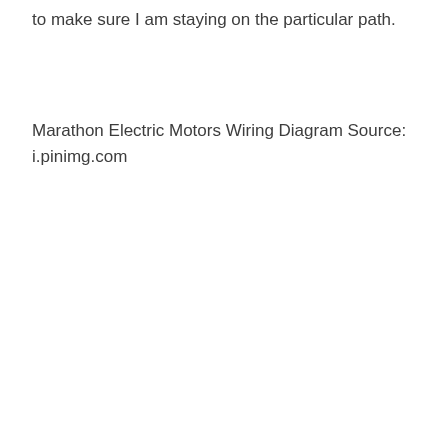to make sure I am staying on the particular path.
Marathon Electric Motors Wiring Diagram Source:
i.pinimg.com